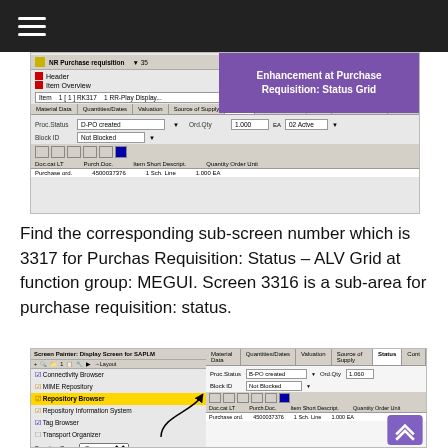Enhancement at Purchase Requisition: Status Grid
[Figure (screenshot): SAP Purchase Requisition Status tab screen showing Proc.Status: D-PO created, Block ID: Not Blocked, with a grid showing Purchase ord. 4500037376, 1 Sch. Line, 1.000 EA]
Find the corresponding sub-screen number which is 3317 for Purchas Requisition: Status – ALV Grid at function group: MEGUI. Screen 3316 is a sub-area for purchase requisition: status.
[Figure (screenshot): SAP Screen Painter: Display Screen for SAPLM showing Connectivity Browser, MIME Repository, Repository Browser, Repository Information System, Tag Browser, Transport Organizer menus, with Function Group MEGUI selected and Object Name 3316 Purchase Requisition: Status listed]